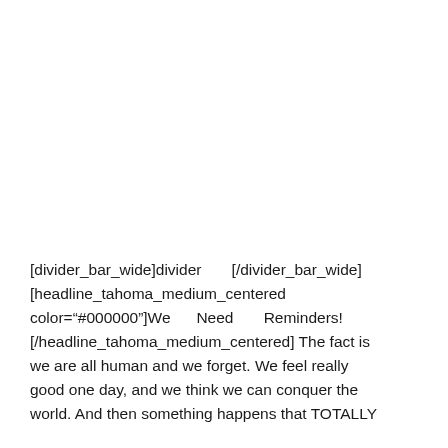[divider_bar_wide]divider [/divider_bar_wide] [headline_tahoma_medium_centered color="#000000"]We Need Reminders! [/headline_tahoma_medium_centered] The fact is we are all human and we forget. We feel really good one day, and we think we can conquer the world. And then something happens that TOTALLY